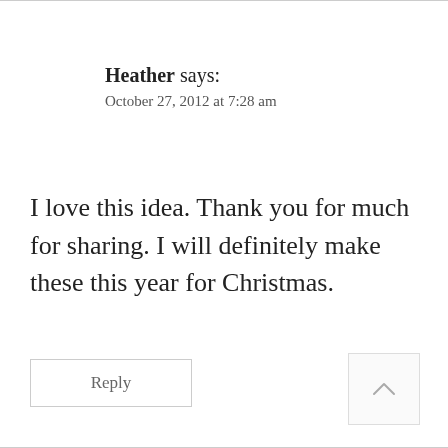Heather says: October 27, 2012 at 7:28 am
I love this idea. Thank you for much for sharing. I will definitely make these this year for Christmas.
Reply